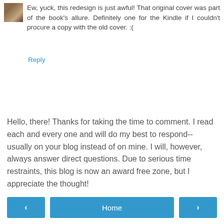Ew, yuck, this redesign is just awful! That original cover was part of the book's allure. Definitely one for the Kindle if I couldn't procure a copy with the old cover. :(
Reply
Hello, there! Thanks for taking the time to comment. I read each and every one and will do my best to respond--usually on your blog instead of on mine. I will, however, always answer direct questions. Due to serious time restraints, this blog is now an award free zone, but I appreciate the thought!
< Home >